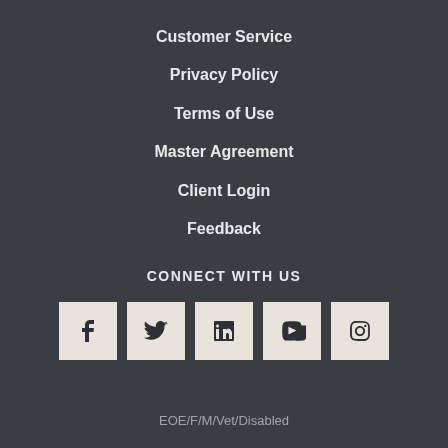Customer Service
Privacy Policy
Terms of Use
Master Agreement
Client Login
Feedback
CONNECT WITH US
[Figure (infographic): Five social media icons in light beige squares: Facebook (f), Twitter (bird), LinkedIn (in), YouTube (play button), Instagram (camera)]
EOE/F/M/Vet/Disabled